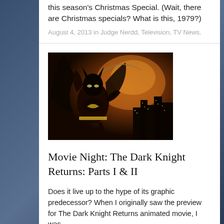this season's Christmas Special. (Wait, there are Christmas specials? What is this, 1979?)
August 4, 2013 in Judge Nerdd, Television, TV News.
[Figure (illustration): Batman animated artwork showing Batman in dynamic pose with orange/fire background and city skyline]
Movie Night: The Dark Knight Returns: Parts I & II
Does it live up to the hype of its graphic predecessor? When I originally saw the preview for The Dark Knight Returns animated movie, I was